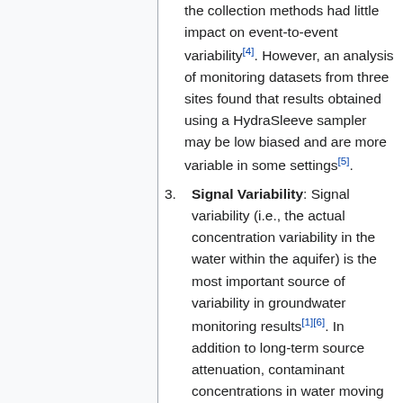the collection methods had little impact on event-to-event variability[4]. However, an analysis of monitoring datasets from three sites found that results obtained using a HydraSleeve sampler may be low biased and are more variable in some settings[5].
Signal Variability: Signal variability (i.e., the actual concentration variability in the water within the aquifer) is the most important source of variability in groundwater monitoring results[1][6]. In addition to long-term source attenuation, contaminant concentrations in water moving through an aquifer (and through a monitoring well)